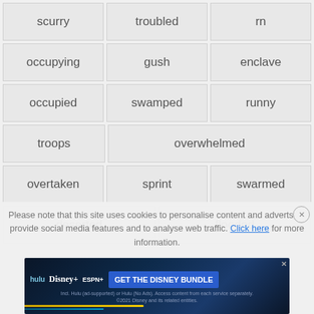| scurry | troubled | rn |
| occupying | gush | enclave |
| occupied | swamped | runny |
| troops | overwhelmed |
| overtaken | sprint | swarmed |
| deserted | flooded |
Please note that this site uses cookies to personalise content and adverts, to provide social media features and to analyse web traffic. Click here for more information.
[Figure (screenshot): Disney Bundle advertisement banner with Hulu, Disney+, ESPN+ logos and 'GET THE DISNEY BUNDLE' call-to-action button]